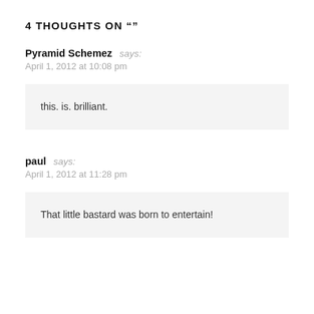4 THOUGHTS ON ""
Pyramid Schemez says:
April 1, 2012 at 10:08 pm
this. is. brilliant.
paul says:
April 1, 2012 at 11:28 pm
That little bastard was born to entertain!